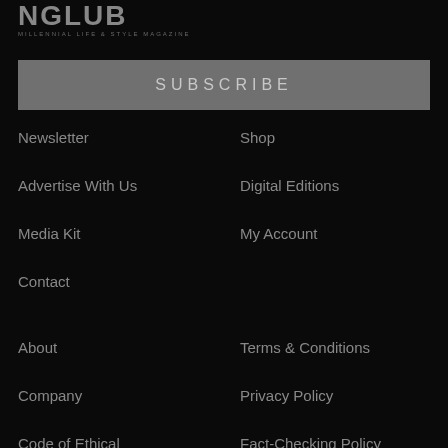[Figure (logo): MGClub Millennial Life & Style Magazine logo — partial, showing letters and tagline]
SUBSCRIBE
Newsletter
Shop
Advertise With Us
Digital Editions
Media Kit
My Account
Contact
About
Terms & Conditions
Company
Privacy Policy
Code of Ethical
Fact-Checking Policy